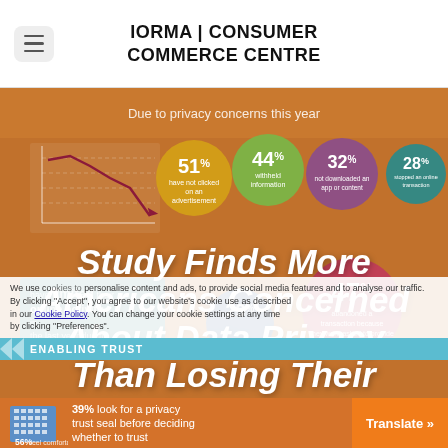IORMA | CONSUMER COMMERCE CENTRE
[Figure (infographic): Infographic about data privacy concerns showing statistics: 51% have not clicked on an advertisement, 44% withheld information, 32% not downloaded an app, 28% stopped an online transaction, 29% and 47% related stats. Background shows an orange/brown themed infographic with circles and a declining line chart. Overlaid bold white italic text reads 'Study Finds More Americans Concerned About Data Privacy Than Losing Their Income'.]
We use cookies to personalise content and ads, to provide social media features and to analyse our traffic. We use cookies to personalise content and ads, to provide social media features and to analyse our traffic. By clicking "Accept", you agree to our website's cookie use as described in our Cookie Policy. You can change your cookie settings at any time by clicking "Preferences".
ENABLING TRUST
39% look for a privacy trust seal before deciding whether to trust
56% feel comfortable with
Translate »